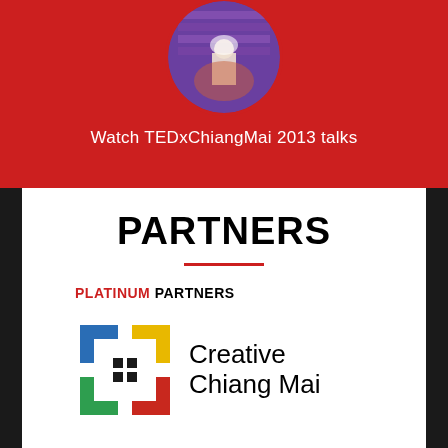[Figure (photo): Circular cropped photo showing a stage scene with purple lighting and a person, from TEDxChiangMai 2013]
Watch TEDxChiangMai 2013 talks
PARTNERS
PLATINUM PARTNERS
[Figure (logo): Creative Chiang Mai logo — a square bracket icon made of colored squares (blue, yellow, green, red/dark) alongside the text 'Creative Chiang Mai']